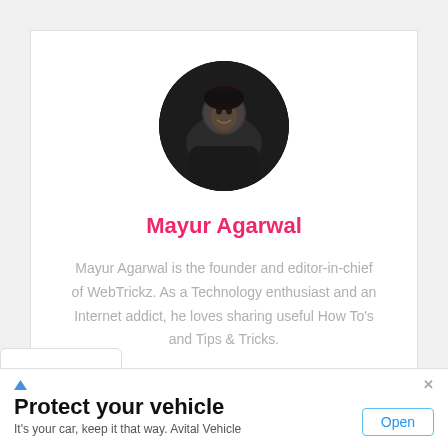[Figure (photo): Circular profile photo of Mayur Agarwal, a man in dark clothing, black and white photo]
Mayur Agarwal
Mayur Agarwal is the founder and editor-in-chief of WebTrickz. As a Technology enthusiast and an Internet addict, he loves sharing useful How To's and Tips & Tricks.
[Figure (infographic): Social media icons: Facebook, Twitter, LinkedIn, Instagram, Reddit]
[Figure (infographic): Chevron down widget at bottom left]
Protect your vehicle
It's your car, keep it that way. Avital Vehicle